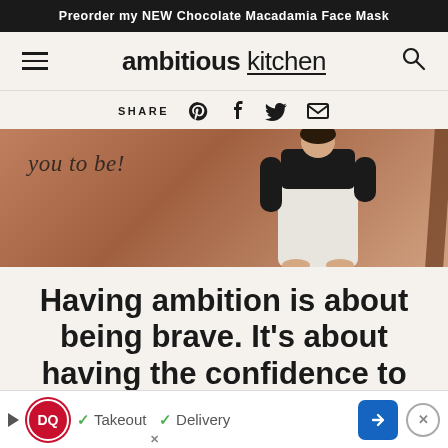Preorder my NEW Chocolate Macadamia Face Mask
ambitious kitchen
SHARE
[Figure (photo): Person in white pants and black top standing against a brown/terracotta background with script text reading 'you to be!']
Having ambition is about being brave. It's about having the confidence to do what we were made to do
[Figure (infographic): Dairy Queen advertisement banner: DQ logo, checkmarks for Takeout and Delivery, blue arrow button, and X close button]